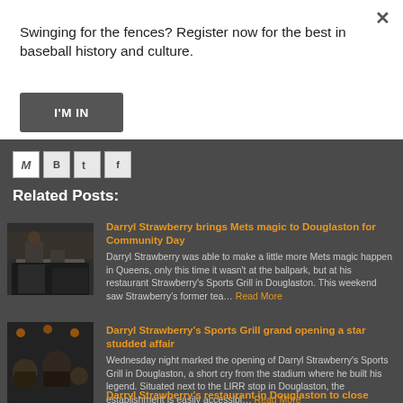Swinging for the fences? Register now for the best in baseball history and culture.
I'M IN
[Figure (screenshot): Social share icons: M (email), B (Blogger), T (Twitter), F (Facebook)]
Related Posts:
[Figure (photo): Photo of Darryl Strawberry signing autographs at a table]
Darryl Strawberry brings Mets magic to Douglaston for Community Day Darryl Strawberry was able to make a little more Mets magic happen in Queens, only this time it wasn't at the ballpark, but at his restaurant Strawberry's Sports Grill in Douglaston. This weekend saw Strawberry's former tea… Read More
[Figure (photo): Photo of people at Darryl Strawberry's Sports Grill grand opening]
Darryl Strawberry's Sports Grill grand opening a star studded affair Wednesday night marked the opening of Darryl Strawberry's Sports Grill in Douglaston, a short cry from the stadium where he built his legend. Situated next to the LIRR stop in Douglaston, the establishment is easily accessibl… Read More
Darryl Strawberry's restaurant in Douglaston to close